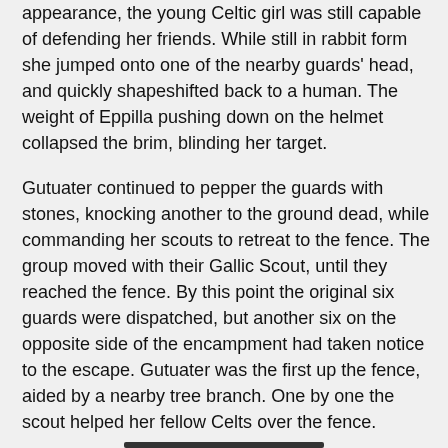appearance, the young Celtic girl was still capable of defending her friends.  While still in rabbit form she jumped onto one of the nearby guards' head, and quickly shapeshifted back to a human.  The weight of Eppilla pushing down on the helmet collapsed the brim, blinding her target.
Gutuater continued to pepper the guards with stones, knocking another to the ground dead, while commanding her scouts to retreat to the fence.  The group moved with their Gallic Scout, until they reached the fence.  By this point the original six guards were dispatched, but another six on the opposite side of the encampment had taken notice to the escape. Gutuater was the first up the fence, aided by a nearby tree branch.  One by one the scout helped her fellow Celts over the fence.
Hopefully the scouting party could reach their village before any of Carthage's forces arrived looking for dinner.